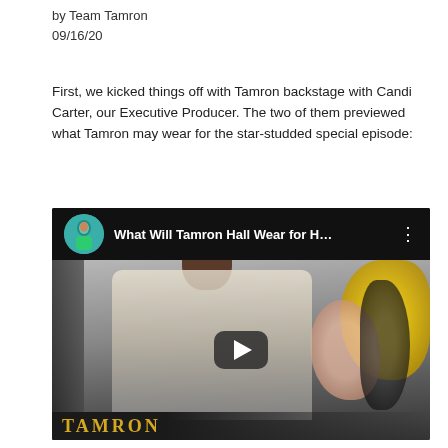by Team Tamron
09/16/20
First, we kicked things off with Tamron backstage with Candi Carter, our Executive Producer. The two of them previewed what Tamron may wear for the star-studded special episode:
[Figure (screenshot): YouTube video thumbnail showing 'What Will Tamron Hall Wear for H...' with a woman holding a sparkly/feathered garment in a dressing room with colorful fur pieces visible. The Tamron show logo appears at the bottom.]